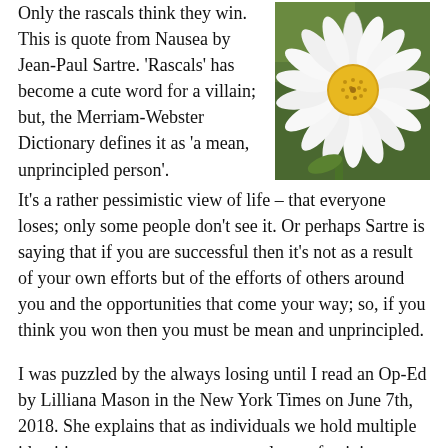Only the rascals think they win. This is quote from Nausea by Jean-Paul Sartre. 'Rascals' has become a cute word for a villain; but, the Merriam-Webster Dictionary defines it as 'a mean, unprincipled person'. It's a rather pessimistic view of life – that everyone loses; only some people don't see it. Or perhaps Sartre is saying that if you are successful then it's not as a result of your own efforts but of the efforts of others around you and the opportunities that come your way; so, if you think you won then you must be mean and unprincipled.
[Figure (photo): Close-up photograph of a white daisy flower with a yellow center against a green background]
I was puzzled by the always losing until I read an Op-Ed by Lilliana Mason in the New York Times on June 7th, 2018. She explains that as individuals we hold multiple identities, as a partner, parent, employee, feminist, etc; and that some of these identities are more important to us than others. She